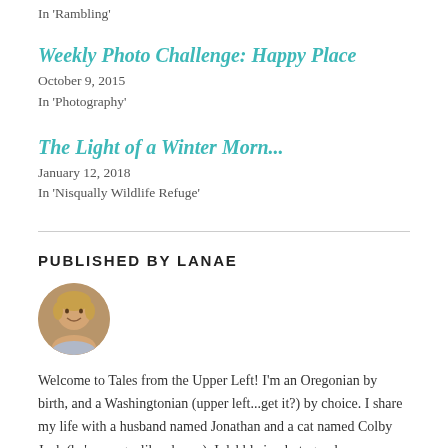In 'Rambling'
Weekly Photo Challenge: Happy Place
October 9, 2015
In 'Photography'
The Light of a Winter Morn...
January 12, 2018
In 'Nisqually Wildlife Refuge'
PUBLISHED BY LANAE
[Figure (photo): Circular profile photo of Lanae, a woman with blonde hair]
Welcome to Tales from the Upper Left! I'm an Oregonian by birth, and a Washingtonian (upper left...get it?) by choice. I share my life with a husband named Jonathan and a cat named Colby Jack (he's orange, like cheese). I dabble in photography,